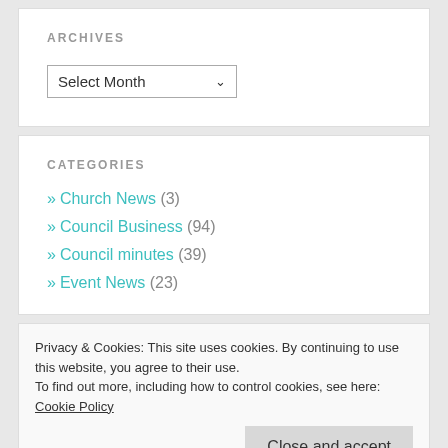ARCHIVES
Select Month
CATEGORIES
» Church News (3)
» Council Business (94)
» Council minutes (39)
» Event News (23)
Privacy & Cookies: This site uses cookies. By continuing to use this website, you agree to their use.
To find out more, including how to control cookies, see here: Cookie Policy
Close and accept
» Volunteering (1)